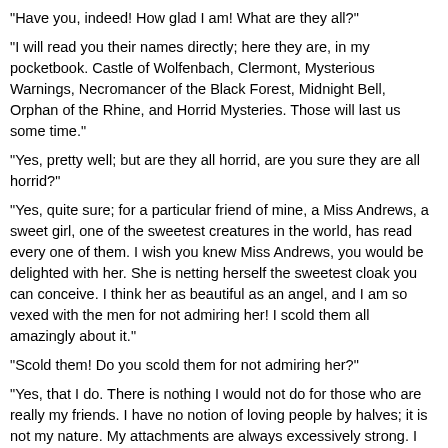"Have you, indeed! How glad I am! What are they all?"
"I will read you their names directly; here they are, in my pocketbook. Castle of Wolfenbach, Clermont, Mysterious Warnings, Necromancer of the Black Forest, Midnight Bell, Orphan of the Rhine, and Horrid Mysteries. Those will last us some time."
"Yes, pretty well; but are they all horrid, are you sure they are all horrid?"
"Yes, quite sure; for a particular friend of mine, a Miss Andrews, a sweet girl, one of the sweetest creatures in the world, has read every one of them. I wish you knew Miss Andrews, you would be delighted with her. She is netting herself the sweetest cloak you can conceive. I think her as beautiful as an angel, and I am so vexed with the men for not admiring her! I scold them all amazingly about it."
"Scold them! Do you scold them for not admiring her?"
"Yes, that I do. There is nothing I would not do for those who are really my friends. I have no notion of loving people by halves; it is not my nature. My attachments are always excessively strong. I told Captain Hunt at one of our assemblies this winter that if he was to tease me all night, I would not dance with him, unless he would allow Miss Andrews to be as beautiful as an angel. The men think us incapable of real friendship, you know, and I am determined to show them the difference. Now, if I were to hear anybody speak slightingly of you, I should fire up in a moment: but that is not at all likely, for you are just the kind of girl to be a great favourite with the men."
"Oh, dear!" cried Catherine, colouring. "How can you say so?"